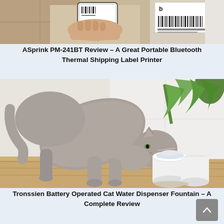[Figure (photo): A hand holding a smartphone scanning a barcode label on a brown cardboard box, with a shipping label showing a barcode and logo visible on the right side and a white box in the background.]
ASprink PM-241BT Review – A Great Portable Bluetooth Thermal Shipping Label Printer
[Figure (photo): A gray cat drinking from a white cylindrical cat water fountain placed on a wooden surface, with a green plant and white wall in the background.]
Tronssien Battery Operated Cat Water Dispenser Fountain – A Complete Review